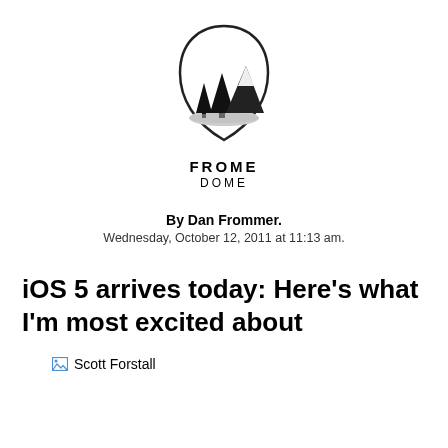[Figure (logo): Frome Dome logo: a rounded triangular badge outline with illustrated pine trees and mountains inside, black and white/gray.]
FROME DOME
By Dan Frommer.
Wednesday, October 12, 2011 at 11:13 am.
iOS 5 arrives today: Here’s what I’m most excited about
[Figure (photo): Broken image placeholder labeled 'Scott Forstall']